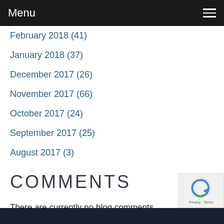Menu
February 2018 (41)
January 2018 (37)
December 2017 (26)
November 2017 (66)
October 2017 (24)
September 2017 (25)
August 2017 (3)
COMMENTS
There are currently no blog comments.